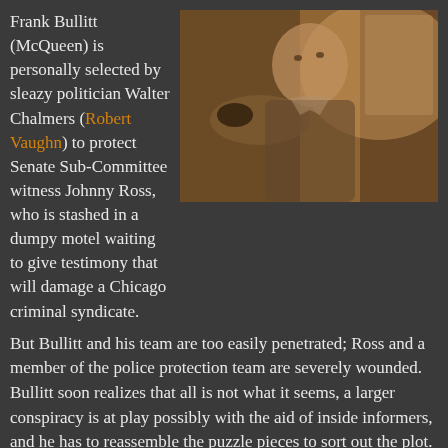Frank Bullitt (McQueen) is personally selected by sleazy politician Walter Chalmers (Robert Vaughn) to protect Senate Sub-Committee witness Johnny Ross, who is stashed in a dumpy motel waiting to give testimony that will damage a Chicago criminal syndicate.
[Figure (photo): Black and white / color still from the movie Bullitt showing Steve McQueen pointing a gun toward the camera]
But Bullitt and his team are too easily penetrated; Ross and a member of the police protection team are severely wounded. Bullitt soon realizes that all is not what it seems, a larger conspiracy is at play possibly with the aid of inside informers, and he has to reassemble the puzzle pieces to sort out the plot.
Director Peter Yates struggles with a lightweight script that relies too much on style at the expense of any character and dialogue sharpness. Sure, McQueen and Bisset look great